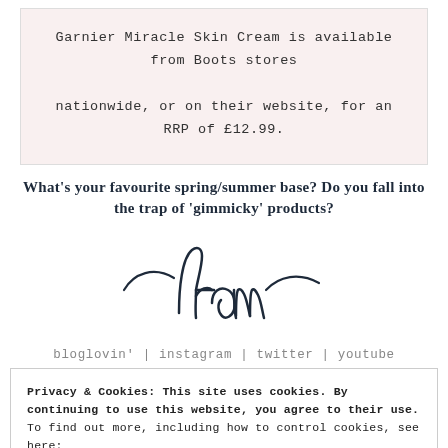Garnier Miracle Skin Cream is available from Boots stores nationwide, or on their website, for an RRP of £12.99.
What's your favourite spring/summer base? Do you fall into the trap of 'gimmicky' products?
[Figure (illustration): Handwritten cursive signature reading 'fran' with decorative swashes]
bloglovin' | instagram | twitter | youtube
Privacy & Cookies: This site uses cookies. By continuing to use this website, you agree to their use. To find out more, including how to control cookies, see here: Cookie Policy
Close and accept